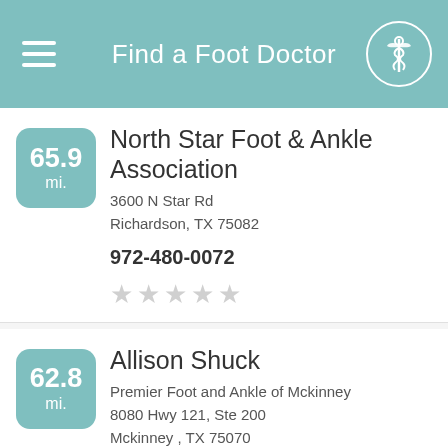Find a Foot Doctor
65.9 mi. — North Star Foot & Ankle Association, 3600 N Star Rd, Richardson, TX 75082, 972-480-0072
62.8 mi. — Allison Shuck, Premier Foot and Ankle of Mckinney, 8080 Hwy 121, Ste 200, Mckinney , TX 75070, (214) 778-1239